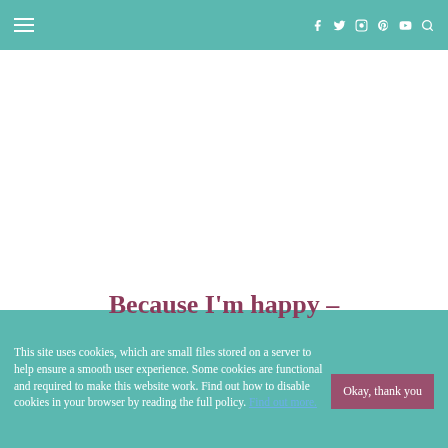Navigation header with hamburger menu and social icons: Facebook, Twitter, Instagram, Pinterest, YouTube, Search
Because I'm happy –
This site uses cookies, which are small files stored on a server to help ensure a smooth user experience. Some cookies are functional and required to make this website work. Find out how to disable cookies in your browser by reading the full policy. Find out more.